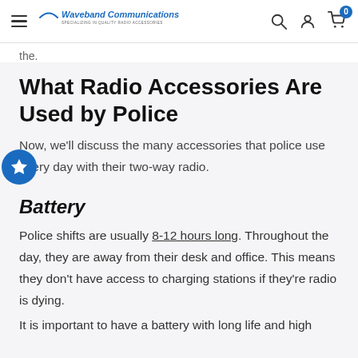Waveband Communications — SPECIALIZING IN QUALITY RADIO ACCESSORIES
the.
What Radio Accessories Are Used by Police
Now, we'll discuss the many accessories that police use every day with their two-way radio.
Battery
Police shifts are usually 8-12 hours long. Throughout the day, they are away from their desk and office. This means they don't have access to charging stations if they're radio is dying.
It is important to have a battery with long life and high capacity it